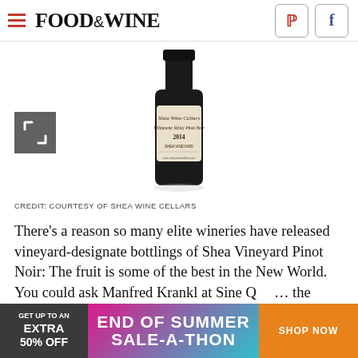FOOD & WINE
[Figure (photo): A bottle of Shea Wine Cellars Willamette Valley Pinot Noir 2014, Shea Vineyard, dark bottle with cream label, on white background. A expand/fullscreen icon overlay in grey box at bottom left.]
CREDIT: COURTESY OF SHEA WINE CELLARS
There's a reason so many elite wineries have released vineyard-designate bottlings of Shea Vineyard Pinot Noir: The fruit is some of the best in the New World. You could ask Manfred Krankl at Sine Qua Non... the
[Figure (infographic): Advertisement banner: 'GET UP TO AN EXTRA 50% OFF — END OF SUMMER SALE-A-THON — SHOP NOW']